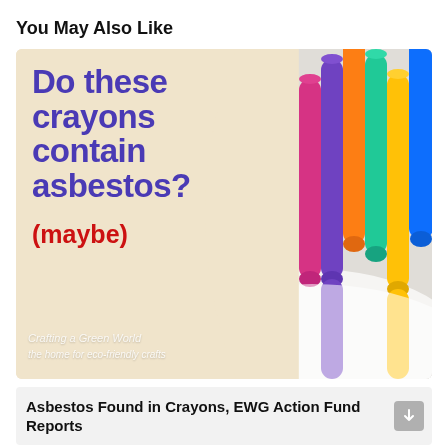You May Also Like
[Figure (photo): Promotional image showing colorful crayons in a cup on the right side, with text on a cream background on the left reading 'Do these crayons contain asbestos?' in purple bold font, and '(maybe)' in red bold font below. A watermark reads 'Crafting a Green World' with a tagline.]
Asbestos Found in Crayons, EWG Action Fund Reports